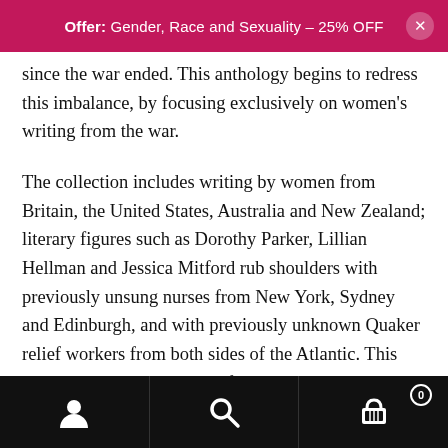Offer: Gender, Race and Sexuality – 25% OFF
since the war ended. This anthology begins to redress this imbalance, by focusing exclusively on women's writing from the war.
The collection includes writing by women from Britain, the United States, Australia and New Zealand; literary figures such as Dorothy Parker, Lillian Hellman and Jessica Mitford rub shoulders with previously unsung nurses from New York, Sydney and Edinburgh, and with previously unknown Quaker relief workers from both sides of the Atlantic. This breadth and variety is one of the anthology's greatest strengths, demonstrating the wide range of women's writing from this political and
Navigation bar with user, search, and cart icons